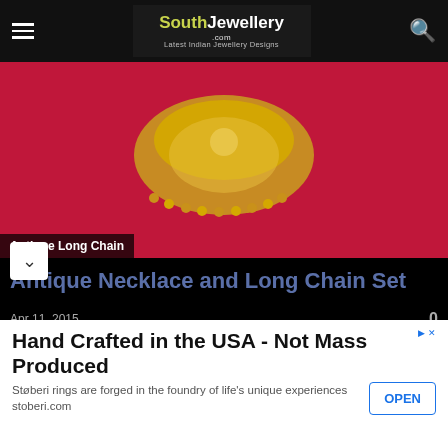SouthJewellery.com – Latest Indian Jewellery Designs
[Figure (photo): Gold antique jewellery chain on red background with caption 'Antique Long Chain']
Antique Necklace and Long Chain Set
Apr 11, 2015
22 carat gold antique finish simple necklace and long haram set adorned with kundans from Mor Jewellers. For inquiries contact: 7097867565
[Figure (photo): Thumbnail of Polki Diamond Waist Belt]
Polki Diamond Waist Belt
Apr 10, 2017
Hand Crafted in the USA - Not Mass Produced. Støberi rings are forged in the foundry of life's unique experiences stoberi.com